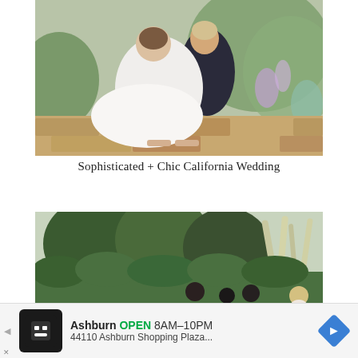[Figure (photo): Wedding photo of a bride and groom sitting on a stone wall in a garden. The bride wears a white dress and heels; the groom wears a dark suit. Both are smiling. Colorful flowers and green plants are visible in the background.]
Sophisticated + Chic California Wedding
[Figure (photo): Outdoor garden scene with tall green hedges and ornamental grasses. People can be seen in the background, with one blonde woman visible on the right side.]
Ashburn OPEN 8AM–10PM 44110 Ashburn Shopping Plaza...